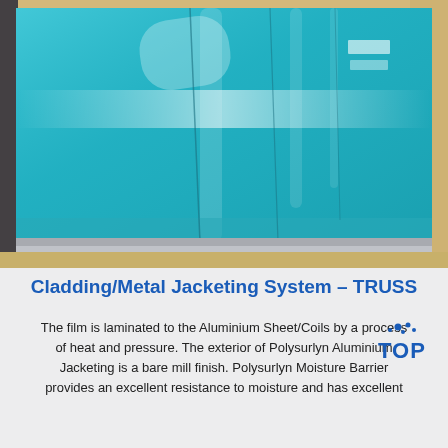[Figure (photo): Close-up photo of turquoise/blue-coated aluminium sheets with protective plastic film lamination, stacked, showing reflective surface with light glare marks, placed on a light beige background surface.]
Cladding/Metal Jacketing System – TRUSS
The film is laminated to the Aluminium Sheet/Coils by a process of heat and pressure. The exterior of Polysurlyn Aluminium Jacketing is a bare mill finish. Polysurlyn Moisture Barrier provides an excellent resistance to moisture and has excellent